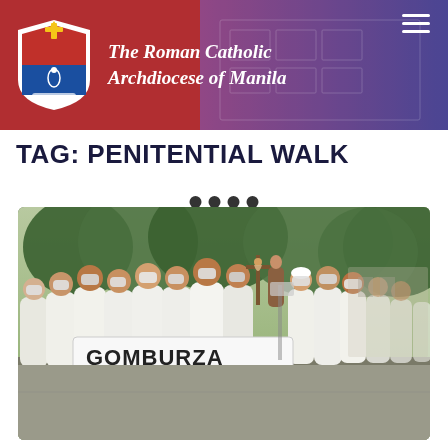The Roman Catholic Archdiocese of Manila
TAG: PENITENTIAL WALK
[Figure (photo): A group of priests and laypeople dressed in white robes and wearing face masks walk in procession carrying a crucifix and a banner reading 'GOMBURZA para sa DIOS at BAYAN' during a penitential walk outdoors amid trees.]